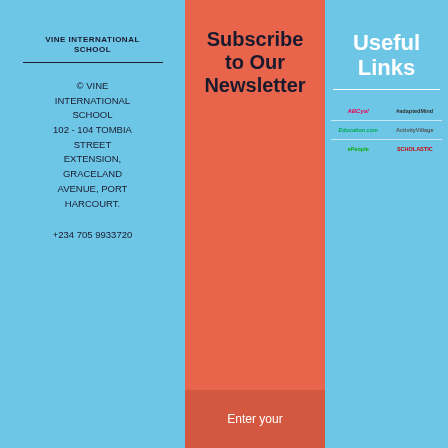VINE INTERNATIONAL SCHOOL
© VINE INTERNATIONAL SCHOOL
102 - 104 TOMBIA STREET EXTENSION, GRACELAND AVENUE, PORT HARCOURT.
+234 705 9933720
Subscribe to Our Newsletter
Subscribe to our mailing list and get interesting stuff and updates to your email inbox.
Enter your
Useful Links
[Figure (logo): ABCya logo]
[Figure (logo): #adaptedMind logo]
[Figure (logo): Education.com logo]
[Figure (logo): Activity Village logo]
[Figure (logo): ePeople logo]
[Figure (logo): Scholastic logo]